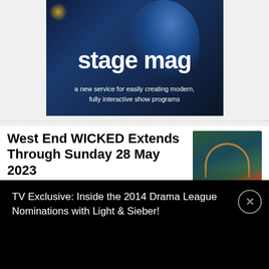[Figure (illustration): Stage Mag advertisement banner showing a person on stage holding papers with blue stage lighting, with text 'stage mag' and 'a new service for easily creating modern, fully interactive show programs']
West End WICKED Extends Through Sunday 28 May 2023
by Stephi Wild - Apr 28, 2022
WICKED, the West End and Broadway
[Figure (photo): Image of a theatrical stage set with ornate arch and green teal lighting]
TV Exclusive: Inside the 2014 Drama League Nominations with Light & Sieber!